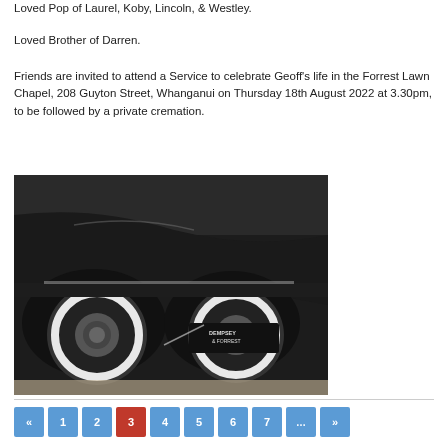Loved Pop of Laurel, Koby, Lincoln, & Westley.
Loved Brother of Darren.
Friends are invited to attend a Service to celebrate Geoff's life in the Forrest Lawn Chapel, 208 Guyton Street, Whanganui on Thursday 18th August 2022 at 3.30pm, to be followed by a private cremation.
[Figure (photo): Close-up photograph of a vintage black car with whitewall tires and chrome details. A 'Dempsey & Forrest' logo/plate is visible on the vehicle.]
« 1 2 3 4 5 6 7 … »